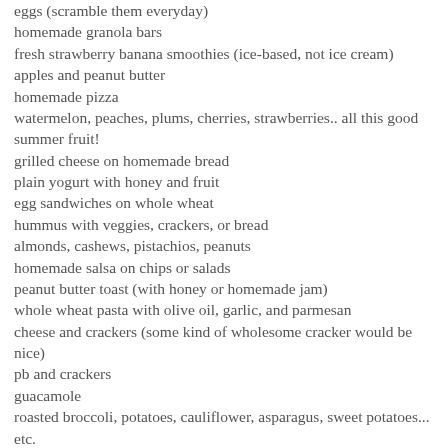eggs (scramble them everyday)
homemade granola bars
fresh strawberry banana smoothies (ice-based, not ice cream)
apples and peanut butter
homemade pizza
watermelon, peaches, plums, cherries, strawberries.. all this good summer fruit!
grilled cheese on homemade bread
plain yogurt with honey and fruit
egg sandwiches on whole wheat
hummus with veggies, crackers, or bread
almonds, cashews, pistachios, peanuts
homemade salsa on chips or salads
peanut butter toast (with honey or homemade jam)
whole wheat pasta with olive oil, garlic, and parmesan
cheese and crackers (some kind of wholesome cracker would be nice)
pb and crackers
guacamole
roasted broccoli, potatoes, cauliflower, asparagus, sweet potatoes... etc.
real organic fruit strips (the archer farms brand from target)
quesadillas/chipotle style burritos